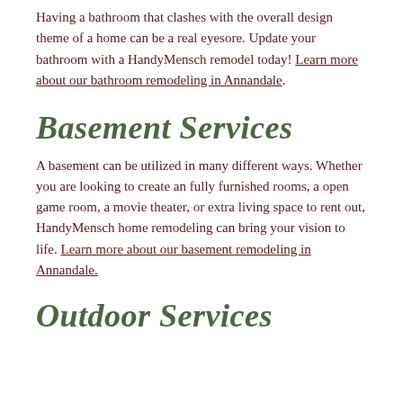Having a bathroom that clashes with the overall design theme of a home can be a real eyesore. Update your bathroom with a HandyMensch remodel today! Learn more about our bathroom remodeling in Annandale.
Basement Services
A basement can be utilized in many different ways. Whether you are looking to create an fully furnished rooms, a open game room, a movie theater, or extra living space to rent out, HandyMensch home remodeling can bring your vision to life. Learn more about our basement remodeling in Annandale.
Outdoor Services